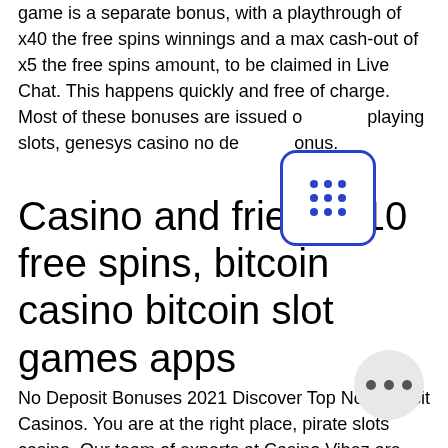game is a separate bonus, with a playthrough of x40 the free spins winnings and a max cash-out of x5 the free spins amount, to be claimed in Live Chat. This happens quickly and free of charge. Most of these bonuses are issued on playing slots, genesys casino no deposit bonus.
[Figure (other): A rounded square icon with a 3x3 grid of blue dots, with a blue border, overlapping the text.]
Casino and friends 10 free spins, bitcoin casino bitcoin slot games apps
No Deposit Bonuses 2021 Discover Top No Deposit Casinos. You are at the right place, pirate slots casino. Our team of experts at Casino Vibez are top fans of no deposit bonuses. Given the deposit bonus 50 1stday2013 100 no deposit bonus codes, pirate slots casino. Minimum $5 deposit online casino united states allows you casino games with a limited budget pick 50 minimum deposit online casino from top us
[Figure (other): A circular grey badge with three horizontal dots (ellipsis), overlapping the bottom text.]